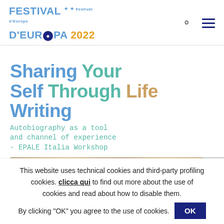FESTIVAL D'EUROPA 2022
Sharing Your Self Through Life Writing
Autobiography as a tool and channel of experience - EPALE Italia Workshop
[Figure (photo): Partial view of a person outdoors, warm tones, cropped image strip]
This website uses technical cookies and third-party profiling cookies. clicca qui to find out more about the use of cookies and read about how to disable them.
By clicking "OK" you agree to the use of cookies.